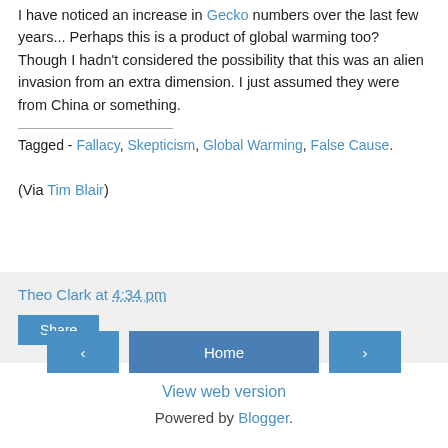I have noticed an increase in Gecko numbers over the last few years... Perhaps this is a product of global warming too? Though I hadn't considered the possibility that this was an alien invasion from an extra dimension. I just assumed they were from China or something.
Tagged - Fallacy, Skepticism, Global Warming, False Cause.
(Via Tim Blair)
Theo Clark at 4:34 pm
Share
Home
View web version
Powered by Blogger.